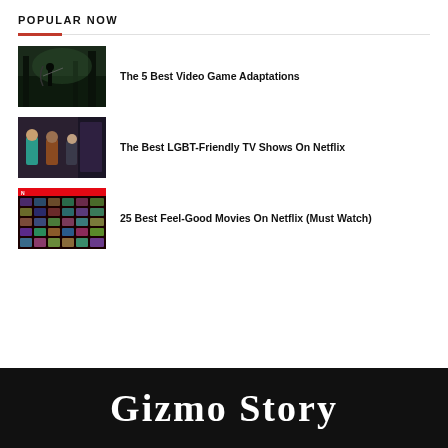POPULAR NOW
The 5 Best Video Game Adaptations
The Best LGBT-Friendly TV Shows On Netflix
25 Best Feel-Good Movies On Netflix (Must Watch)
Gizmo Story